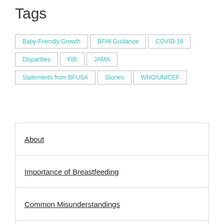Tags
Baby-Friendly Growth
BFHI Guidance
COVID-19
Disparities
FIB
JAMA
Statements from BFUSA
Stories
WHO/UNICEF
About
Importance of Breastfeeding
Common Misunderstandings
Departments and Key Staff
Board of Directors